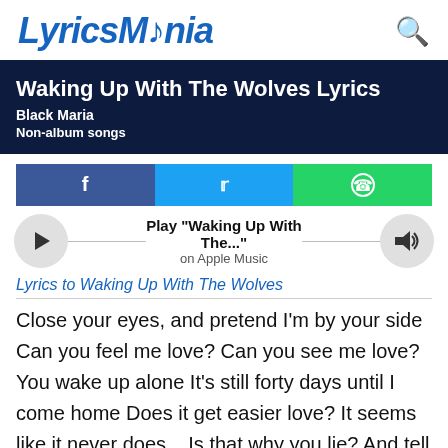LyricsMania
Waking Up With The Wolves Lyrics
Black Maria
Non-album songs
[Figure (other): Social share buttons: Facebook, Twitter, WhatsApp]
[Figure (other): Apple Music player bar with play button, Play "Waking Up With The..." on Apple Music, and volume button]
Lyrics to Waking Up With The Wolves
Close your eyes, and pretend I'm by your side Can you feel me love? Can you see me love? You wake up alone It's still forty days until I come home Does it get easier love? It seems like it never does... Is that why you lie? And tell me your alright? Close your